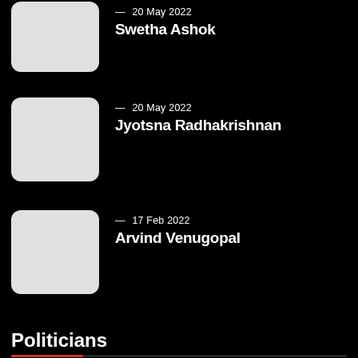20 May 2022 — Swetha Ashok
20 May 2022 — Jyotsna Radhakrishnan
17 Feb 2022 — Arvind Venugopal
Politicians
9 Jul 2021